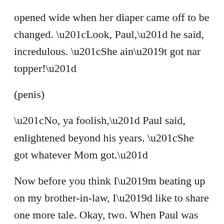opened wide when her diaper came off to be changed. “Look, Paul,” he said, incredulous. “She ain’t got nar topper!” (penis) “No, ya foolish,” Paul said, enlightened beyond his years. “She got whatever Mom got.”

Now before you think I’m beating up on my brother-in-law, I’d like to share one more tale. Okay, two. When Paul was about nine and enjoying his summer vacation in